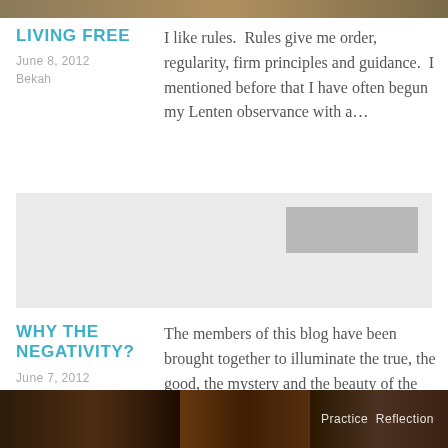[Figure (photo): Top decorative image banner, brown/golden tones]
LIVING FREE
June 8, 2012
Bekah
I like rules.  Rules give me order, regularity, firm principles and guidance.  I mentioned before that I have often begun my Lenten observance with a…
[Figure (other): Advertisement block, light gray background with darker gray rectangle]
WHY THE NEGATIVITY?
June 7, 2012
Bekah
The members of this blog have been brought together to illuminate the true, the good, the mystery and the beauty of the Catholic Church.  We…
[Figure (photo): Bottom image banner showing church pews/ornate woodwork with text 'Practice  Reflection']